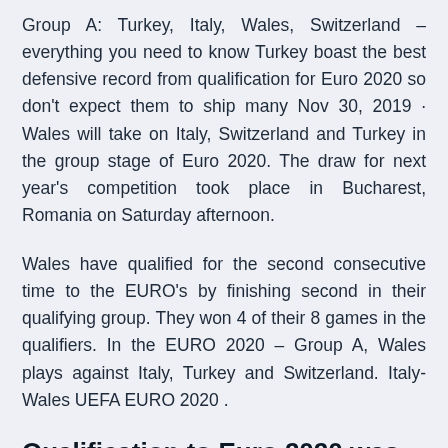Group A: Turkey, Italy, Wales, Switzerland – everything you need to know Turkey boast the best defensive record from qualification for Euro 2020 so don't expect them to ship many Nov 30, 2019 · Wales will take on Italy, Switzerland and Turkey in the group stage of Euro 2020. The draw for next year's competition took place in Bucharest, Romania on Saturday afternoon.
Wales have qualified for the second consecutive time to the EURO's by finishing second in their qualifying group. They won 4 of their 8 games in the qualifiers. In the EURO 2020 – Group A, Wales plays against Italy, Turkey and Switzerland. Italy-Wales UEFA EURO 2020 .
Qualification to Euro 2020 was sealed with three matches to